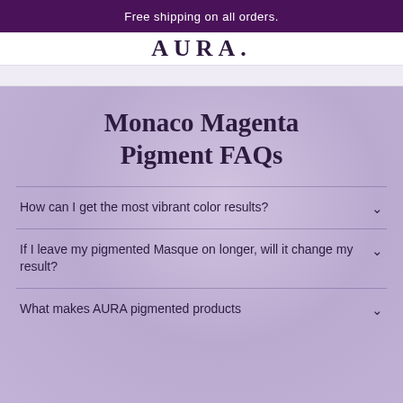Free shipping on all orders.
AURA.
Monaco Magenta Pigment FAQs
How can I get the most vibrant color results?
If I leave my pigmented Masque on longer, will it change my result?
What makes AURA pigmented products different from other options?